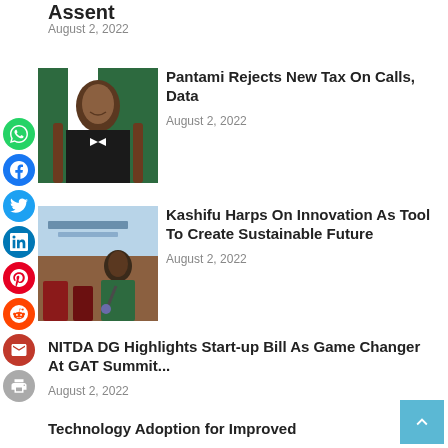[Figure (other): Social media sharing sidebar with icons: WhatsApp, Facebook, Twitter, LinkedIn, Pinterest, Reddit, Email, Print]
Assent
August 2, 2022
[Figure (photo): Photo of Pantami, a man in a dark suit sitting at a desk]
Pantami Rejects New Tax On Calls, Data
August 2, 2022
[Figure (photo): Photo of Kashifu speaking on stage holding a microphone, wearing a green outfit]
Kashifu Harps On Innovation As Tool To Create Sustainable Future
August 2, 2022
NITDA DG Highlights Start-up Bill As Game Changer At GAT Summit...
August 2, 2022
Technology Adoption for Improved